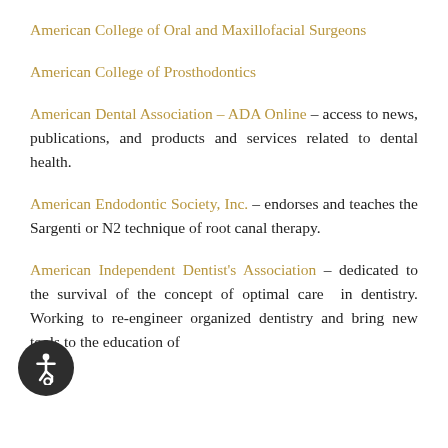American College of Oral and Maxillofacial Surgeons
American College of Prosthodontics
American Dental Association – ADA Online – access to news, publications, and products and services related to dental health.
American Endodontic Society, Inc. – endorses and teaches the Sargenti or N2 technique of root canal therapy.
American Independent Dentist's Association – dedicated to the survival of the concept of optimal care in dentistry. Working to re-engineer organized dentistry and bring new tools to the education of